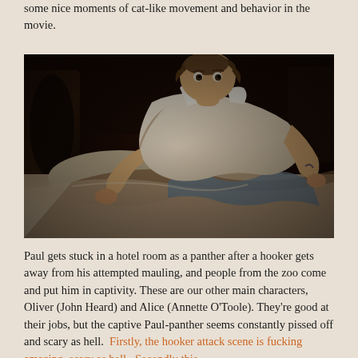some nice moments of cat-like movement and behavior in the movie.
[Figure (photo): A young man in a white tank top crouching on a bed in a hotel room, looking surprised or alarmed. The scene is dimly lit with dark browns and warm tones.]
Paul gets stuck in a hotel room as a panther after a hooker gets away from his attempted mauling, and people from the zoo come and put him in captivity. These are our other main characters, Oliver (John Heard) and Alice (Annette O'Toole). They're good at their jobs, but the captive Paul-panther seems constantly pissed off and scary as hell. Firstly, the hooker attack scene is fucking amazing, scary as hell. Secondly this